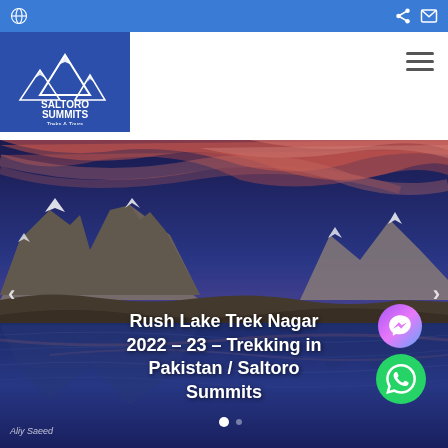Saltoro Summits - top navigation bar with globe, share and mail icons
[Figure (logo): Saltoro Summits Treks & Tours logo - white mountain peaks on blue background]
[Figure (photo): Dramatic mountain landscape at sunset/dawn with pink and red clouds over snow-capped peaks reflected in a still lake, Rush Lake Trek Nagar Pakistan]
Rush Lake Trek Nagar 2022 – 23 – Trekking in Pakistan / Saltoro Summits